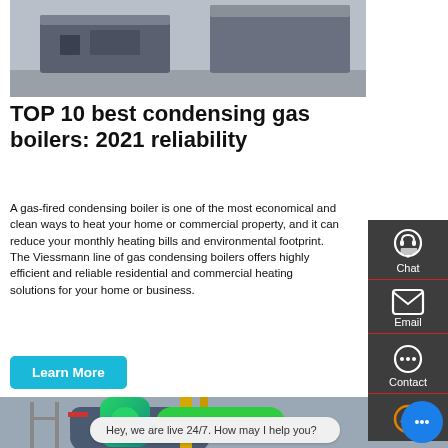[Figure (photo): Photo of industrial boiler/equipment in a factory setting, top crop]
TOP 10 best condensing gas boilers: 2021 reliability
A gas-fired condensing boiler is one of the most economical and clean ways to heat your home or commercial property, and it can reduce your monthly heating bills and environmental footprint. The Viessmann line of gas condensing boilers offers highly efficient and reliable residential and commercial heating solutions for your home or business.
[Figure (screenshot): Learn More button (cyan/teal)]
[Figure (photo): Photo of large industrial gas boiler in a factory with yellow pipes and blue tank]
[Figure (screenshot): WhatsApp icon and Contact us now! green button overlay]
Hey, we are live 24/7. How may I help you?
[Figure (screenshot): Right sidebar with Chat, Email, Contact, scroll-up icons on dark background]